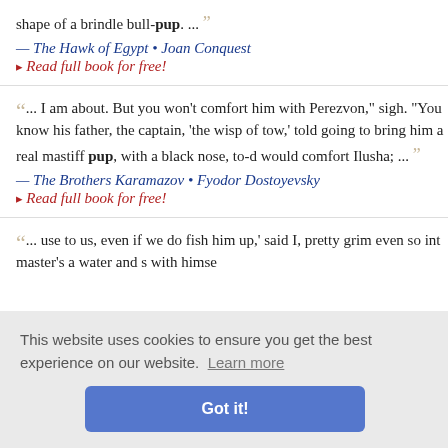shape of a brindle bull-pup. ...
— The Hawk of Egypt • Joan Conquest
▸ Read full book for free!
... I am about. But you won't comfort him with Perezvon," sigh. "You know his father, the captain, 'the wisp of tow,' told going to bring him a real mastiff pup, with a black nose, to-d would comfort Ilusha; ...
— The Brothers Karamazov • Fyodor Dostoyevsky
▸ Read full book for free!
... use to us, even if we do fish him up,' said I, pretty grim even so int master's a water and s with himse
This website uses cookies to ensure you get the best experience on our website. Learn more
Got it!